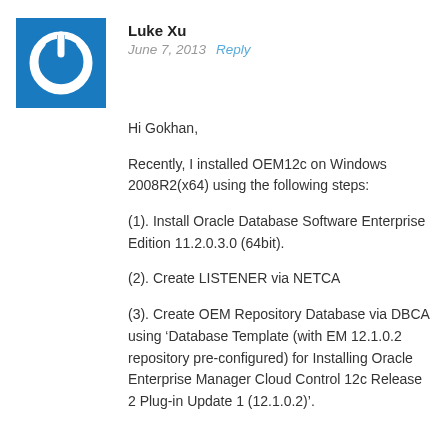[Figure (logo): Blue square avatar with white power button icon]
Luke Xu
June 7, 2013  Reply
Hi Gokhan,
Recently, I installed OEM12c on Windows 2008R2(x64) using the following steps:
(1). Install Oracle Database Software Enterprise Edition 11.2.0.3.0 (64bit).
(2). Create LISTENER via NETCA
(3). Create OEM Repository Database via DBCA using ‘Database Template (with EM 12.1.0.2 repository pre-configured) for Installing Oracle Enterprise Manager Cloud Control 12c Release 2 Plug-in Update 1 (12.1.0.2)’.